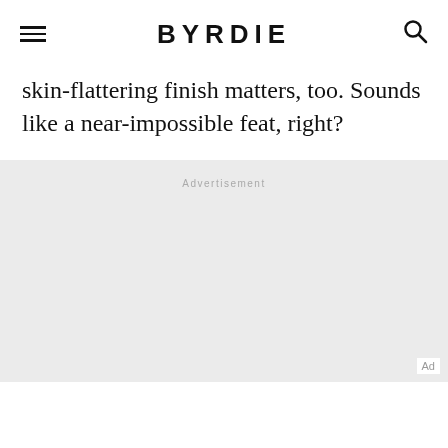BYRDIE
skin-flattering finish matters, too. Sounds like a near-impossible feat, right?
[Figure (other): Advertisement placeholder block with light gray background and 'Advertisement' label centered at top, 'Ad' label in bottom right corner]